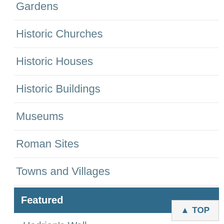Gardens
Historic Churches
Historic Houses
Historic Buildings
Museums
Roman Sites
Towns and Villages
Featured
Hadrian's Wall
Attractions
Alnwick Castle
Lindisfarne Castle
Warkworth Castle